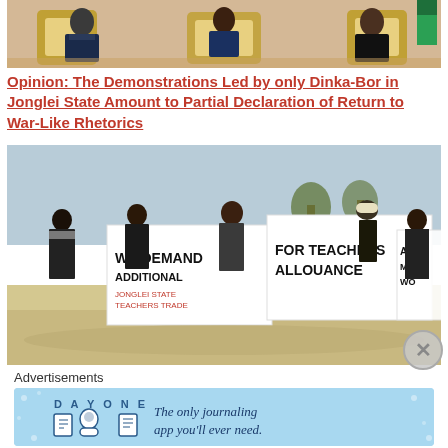[Figure (photo): Two men in suits seated in ornate gold chairs, likely officials in a meeting room]
Opinion: The Demonstrations Led by only Dinka-Bor in Jonglei State Amount to Partial Declaration of Return to War-Like Rhetorics
[Figure (photo): Protesters marching in a street holding large white banners reading 'WE DEMAND FOR TEACHERS ADDITIONAL ALLOUANCE JONGLEI STATE TEACHERS TRADE' and partial text 'HAND PAYMENT STATE WO']
Advertisements
[Figure (infographic): DayOne app advertisement: 'The only journaling app you'll ever need.' with blue background and app icons]